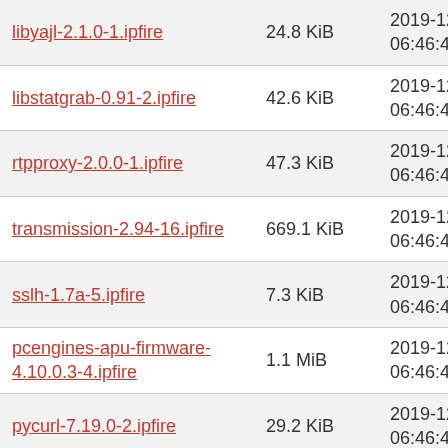| Name | Size | Date |
| --- | --- | --- |
| libyajl-2.1.0-1.ipfire | 24.8 KiB | 2019-12-11 06:46:47 |
| libstatgrab-0.91-2.ipfire | 42.6 KiB | 2019-12-11 06:46:47 |
| rtpproxy-2.0.0-1.ipfire | 47.3 KiB | 2019-12-11 06:46:47 |
| transmission-2.94-16.ipfire | 669.1 KiB | 2019-12-11 06:46:47 |
| sslh-1.7a-5.ipfire | 7.3 KiB | 2019-12-11 06:46:47 |
| pcengines-apu-firmware-4.10.0.3-4.ipfire | 1.1 MiB | 2019-12-11 06:46:47 |
| pycurl-7.19.0-2.ipfire | 29.2 KiB | 2019-12-11 06:46:47 |
| libvirt-5.6.0-20.ipfire | 2.8 MiB | 2019-12-11 06:46:46 |
| libassuan-2.4.3-4.ipfire | 36.3 KiB | 2019-12-11 06:46:46 |
| flashrom-1.0.1-1.ipfire | 147.3 KiB | 2019-12-11 06:46:46 |
| stunnel-5.44-4.ipfire | 73.3 KiB | 2019-12-11 06:46:46 |